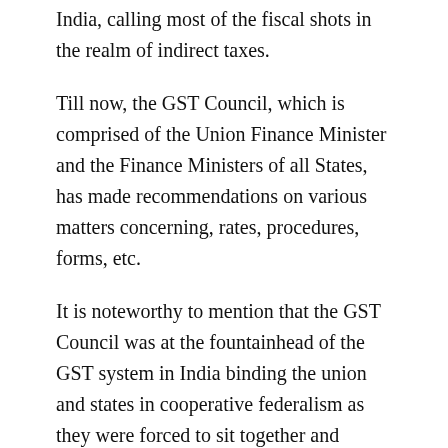India, calling most of the fiscal shots in the realm of indirect taxes.
Till now, the GST Council, which is comprised of the Union Finance Minister and the Finance Ministers of all States, has made recommendations on various matters concerning, rates, procedures, forms, etc.
It is noteworthy to mention that the GST Council was at the fountainhead of the GST system in India binding the union and states in cooperative federalism as they were forced to sit together and decide on their common fiscal agenda irrespective of their regional and political differences. To the common man, it